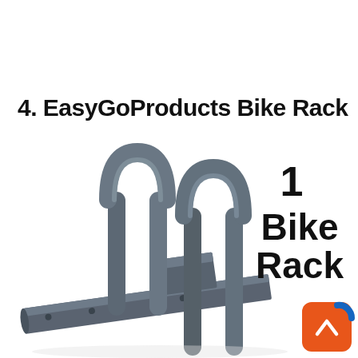4. EasyGoProducts Bike Rack
[Figure (photo): Close-up photo of a metal bike rack with curved U-shaped steel tube holders mounted on a rectangular base rail, shown at an angle. Text overlay reads '1 BIKE RACK' in bold black letters on the right side. A small orange UI badge with an up-arrow chevron icon appears in the bottom-right corner.]